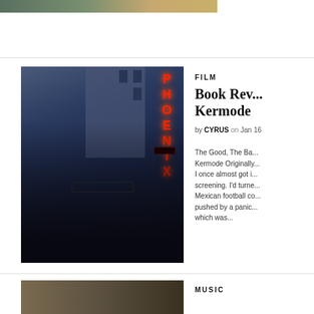[Figure (photo): Cropped top portion of two photos visible at top of page]
[Figure (photo): Man in dark suit and tie standing in front of Phoenix cinema neon sign at night]
FILM
Book Rev... Kermode
by CYRUS on Jan 16
The Good, The Ba... Kermode Originally... I once almost got i... screening. I'd turne... Mexican football co... pushed by a panic... which was...
MUSIC
[Figure (photo): Partial photo visible at bottom of page]